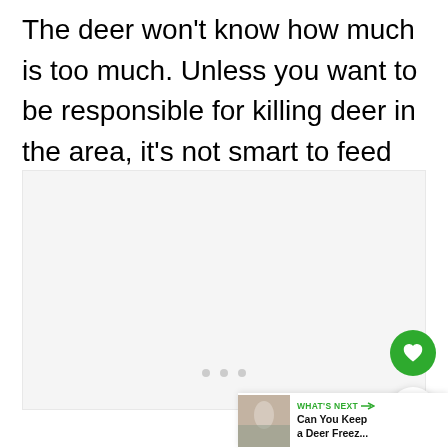The deer won't know how much is too much. Unless you want to be responsible for killing deer in the area, it's not smart to feed them bread.
[Figure (photo): Large image placeholder area with light gray background, three navigation dots at bottom, a green heart/favorite button and a white share button overlaid on the right side.]
[Figure (screenshot): 'WHAT'S NEXT' recommendation bar at bottom right showing a thumbnail of a deer/winter scene and the text 'Can You Keep a Deer Freez...']